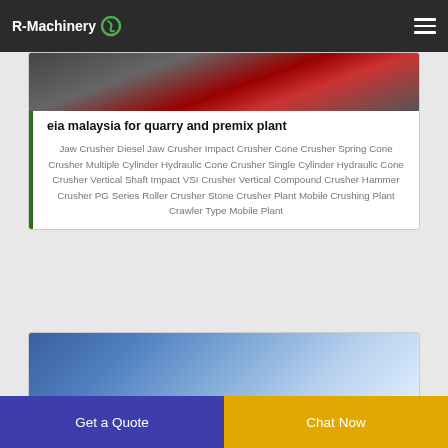R-Machinery
[Figure (photo): Machinery/equipment photo at top of first card]
eia malaysia for quarry and premix plant
Jaw Crusher Diesel Jaw Crusher Impact Crusher Cone Crusher Spring Cone Crusher Multiple Cylinder Hydraulic Cone Crusher Single Cylinder Hydraulic Cone Crusher Vertical Shaft Impact VSI Crusher Vertical Compound Crusher Hammer Crusher PG Series Roller Crusher Stone Crusher Plant Mobile Crushing Plant Crawler Type Mobile Plant
[Figure (photo): Industrial building interior with blue structural beams and translucent roof panels]
Get a Quote
Chat Now